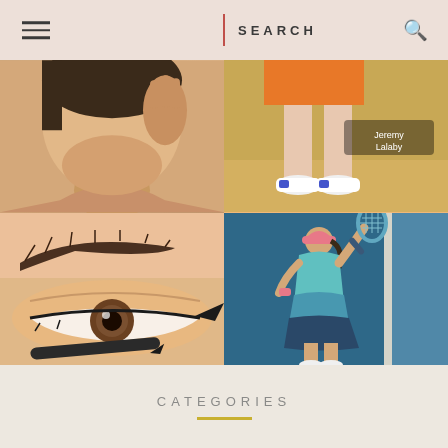SEARCH
[Figure (photo): Grid of 4 images: top-left shows a woman's face/neck, top-right shows tennis shoes and legs with text 'Jeremy Lalaby', bottom-left shows a close-up of an eye with makeup eyeliner being applied, bottom-right shows a female tennis player in a teal/navy outfit reaching up to serve on a blue court]
CATEGORIES